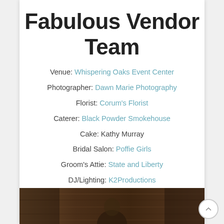Fabulous Vendor Team
Venue: Whispering Oaks Event Center
Photographer: Dawn Marie Photography
Florist: Corum's Florist
Caterer: Black Powder Smokehouse
Cake: Kathy Murray
Bridal Salon: Poffie Girls
Groom's Attie: State and Liberty
DJ/Lighting: K2Productions
[Figure (photo): Wedding photo showing a person in a wood-paneled venue, partial view at bottom of page]